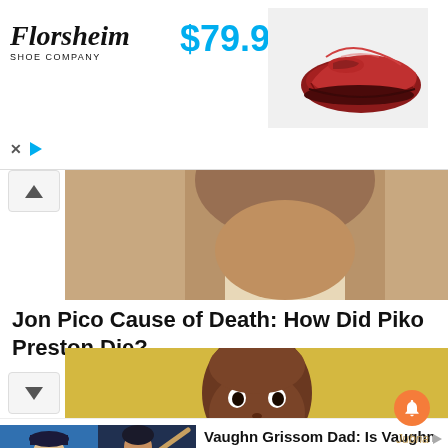[Figure (photo): Florsheim Shoe Company advertisement banner showing a red leather loafer shoe and price $79.90]
[Figure (photo): Partial photo of a man's chin and neck area, cropped article image]
Jon Pico Cause of Death: How Did Piko Preston Die?
[Figure (photo): Close-up photo of a young Black toddler's face against a yellow background]
[Figure (photo): Recommendation card with two baseball player photos and headline: Vaughn Grissom Dad: Is Vaughn Grissom Related To Marquis Grissom? Parents]
ngnews247.com